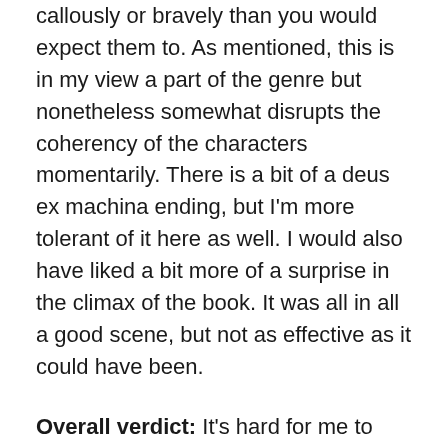callously or bravely than you would expect them to. As mentioned, this is in my view a part of the genre but nonetheless somewhat disrupts the coherency of the characters momentarily. There is a bit of a deus ex machina ending, but I'm more tolerant of it here as well. I would also have liked a bit more of a surprise in the climax of the book. It was all in all a good scene, but not as effective as it could have been.
Overall verdict: It's hard for me to describe what exactly it is about Rot & Ruin that makes it so appealing. Maybe it's the grassroots approach, maybe it's the YA vibe that comes from easy readability and themes such as growing up. Maybe it's the thoughtful take on zombies. Whatever it is, it works very nicely. Paradoxically, writing to young adults, Jonathan Maberry has written his most mature piece of zombie fiction. There is a sequel to the book,